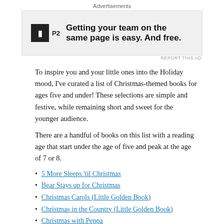[Figure (other): Advertisement banner for P2 - 'Getting your team on the same page is easy. And free.']
To inspire you and your little ones into the Holiday mood, I've curated a list of Christmas-themed books for ages five and under! These selections are simple and festive, while remaining short and sweet for the younger audience.
There are a handful of books on this list with a reading age that start under the age of five and peak at the age of 7 or 8.
5 More Sleeps 'til Christmas
Bear Stays up for Christmas
Christmas Carols (Little Golden Book)
Christmas in the Country (Little Golden Book)
Christmas with Peppa
Construction Site on Christmas Night
Dear Santa: A Lift-the-Flap Book
Dream Snow
Frosty the Snowman (Little Golden Book)
Ho Ho Ho: Peek-A-Flap Book
Jingle Bells (Little Golden Book)